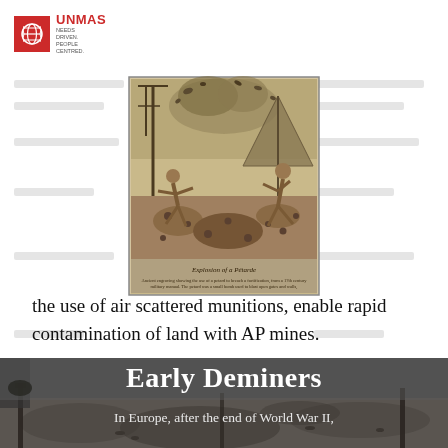UNMAS — NEEDS DRIVEN. PEOPLE CENTRED.
[Figure (illustration): Historical illustration titled 'Explosion of a Petarde' showing a soldier being blown up by a petard explosion, with text caption below in old-style engraving style.]
the use of air scattered munitions, enable rapid contamination of land with AP mines.
[Figure (photo): Black and white photograph showing ground-level view of a sandy/muddy field with wooden stakes, used as background for Early Deminers section.]
Early Deminers
In Europe, after the end of World War II,